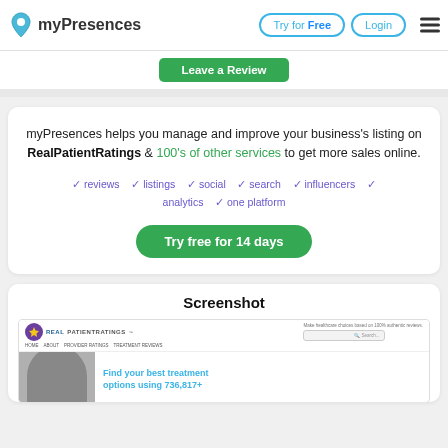myPresences | Try for Free | Login
Leave a Review
myPresences helps you manage and improve your business's listing on RealPatientRatings & 100's of other services to get more sales online.
✓ reviews  ✓ listings  ✓ social  ✓ search  ✓ influencers  ✓ analytics  ✓ one platform
Try free for 14 days
Screenshot
[Figure (screenshot): RealPatientRatings website screenshot showing logo, navigation bar with HOME, ABOUT, PROVIDER RATINGS, TREATMENT REVIEWS, a search box, and content 'Find your best treatment options using 736,817+']